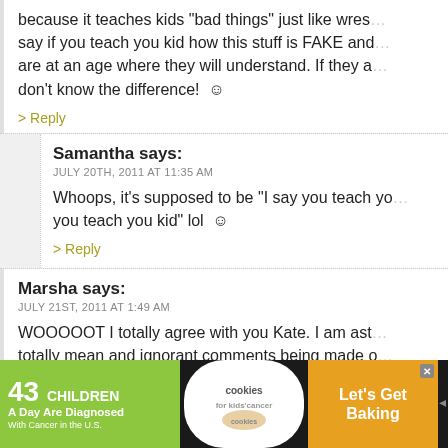because it teaches kids "bad things" just like wres... say if you teach you kid how this stuff is FAKE and are at an age where they will understand. If they a... don't know the difference! ☺
> Reply
Samantha says:
JULY 20TH, 2011 AT 11:35 AM
Whoops, it's supposed to be "I say you teach you you teach you kid" lol ☺
> Reply
Marsha says:
JULY 21ST, 2011 AT 1:49 AM
WOOOOOT I totally agree with you Kate. I am ast... totally mean and ignorant comments being made o... movie.... for gosh sakes...if all you have to worry ab... to a movie she A) didnt watch and ... cannot follo...
[Figure (infographic): Advertisement banner: '43 CHILDREN A Day Are Diagnosed With Cancer in the U.S.' with cookies for kids cancer and Let's Get Baking logos]